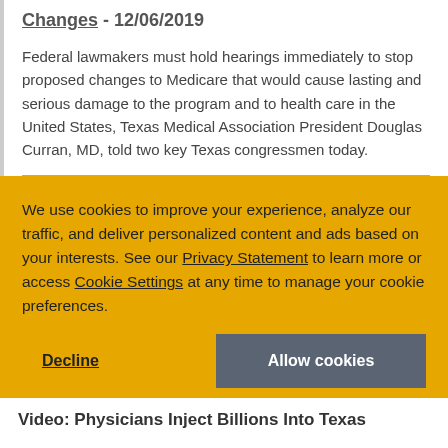Changes - 12/06/2019
Federal lawmakers must hold hearings immediately to stop proposed changes to Medicare that would cause lasting and serious damage to the program and to health care in the United States, Texas Medical Association President Douglas Curran, MD, told two key Texas congressmen today.
We use cookies to improve your experience, analyze our traffic, and deliver personalized content and ads based on your interests. See our Privacy Statement to learn more or access Cookie Settings at any time to manage your cookie preferences.
Video: Physicians Inject Billions Into Texas